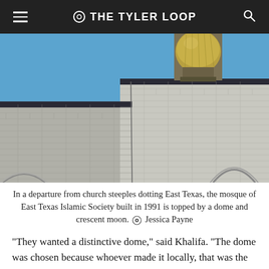THE TYLER LOOP
[Figure (photo): Close-up photo of a brick mosque building under a blue sky, with a large golden dome and crescent moon finial rising above the roofline. The brickwork is light gray/white with architectural arch details visible at the base.]
In a departure from church steeples dotting East Texas, the mosque of East Texas Islamic Society built in 1991 is topped by a dome and crescent moon. 📷 Jessica Payne
“They wanted a distinctive dome,” said Khalifa. “The dome was chosen because whoever made it locally, that was the dome template they had.”